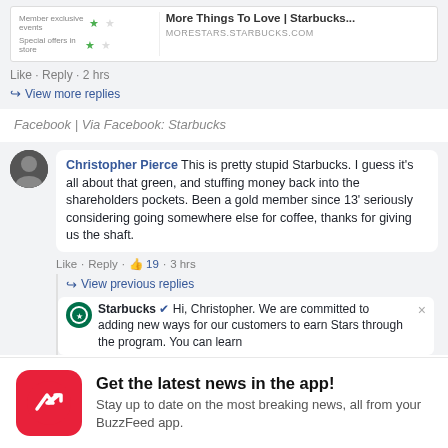[Figure (screenshot): Facebook comment section screenshot showing a Starbucks promotional post with star rating rows and MORESTARS.STARBUCKS.COM URL, with Like/Reply/2 hrs action bar and View more replies link]
Facebook | Via Facebook: Starbucks
[Figure (screenshot): Facebook comment by Christopher Pierce criticizing Starbucks loyalty program changes, with Like/Reply/thumbs up 19/3 hrs, View previous replies, and Starbucks official reply beginning 'Hi, Christopher. We are committed to adding new ways for our customers to earn Stars through the program. You can learn']
Get the latest news in the app! Stay up to date on the most breaking news, all from your BuzzFeed app.
Maybe later
Get the app